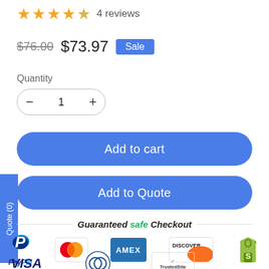★★★★☆ 4 reviews
$76.00  $73.97  Sale
Quantity
1
Add to cart
Add to Quote
Quote (0)
Guaranteed safe Checkout
[Figure (logo): Payment provider logos: PayPal, Mastercard, AMEX, Discover, Shopify, Visa, Diners Club, TrustedSite]